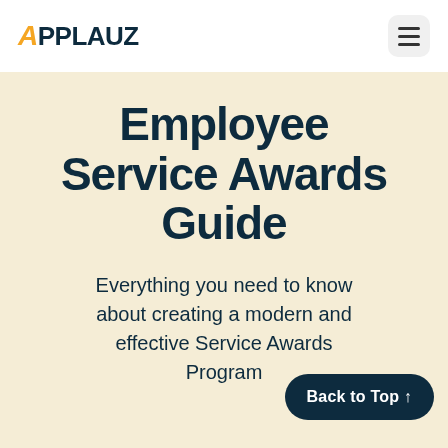APPLAUZ
Employee Service Awards Guide
Everything you need to know about creating a modern and effective Service Awards Program